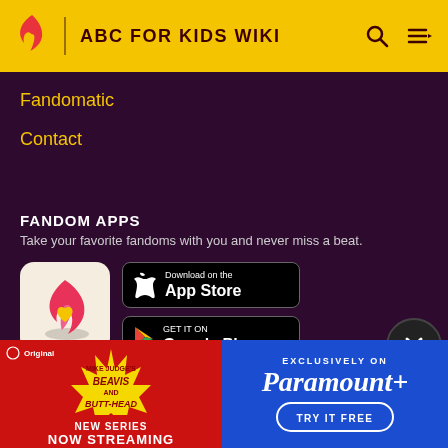ABC FOR KIDS WIKI
Fandomatic
Contact
FANDOM APPS
Take your favorite fandoms with you and never miss a beat.
[Figure (logo): Fandom app icon - red/pink flame with yellow heart on cream background]
[Figure (infographic): Download on the App Store button]
[Figure (infographic): GET IT ON Google Play button]
[Figure (infographic): Mike Judge's Beavis and Butt-Head New Series Now Streaming - Exclusively on Paramount+ Try It Free advertisement banner]